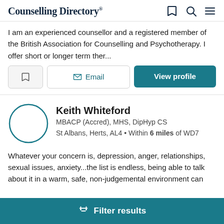Counselling Directory
I am an experienced counsellor and a registered member of the British Association for Counselling and Psychotherapy. I offer short or longer term ther...
[Figure (screenshot): Three action buttons: bookmark icon button, Email button with envelope icon, and View profile button]
[Figure (photo): Circular profile avatar placeholder for Keith Whiteford - teal outlined circle, no photo]
Keith Whiteford
MBACP (Accred), MHS, DipHyp CS
St Albans, Herts, AL4 • Within 6 miles of WD7
Whatever your concern is, depression, anger, relationships, sexual issues, anxiety...the list is endless, being able to talk about it in a warm, safe, non-judgemental environment can
Filter results